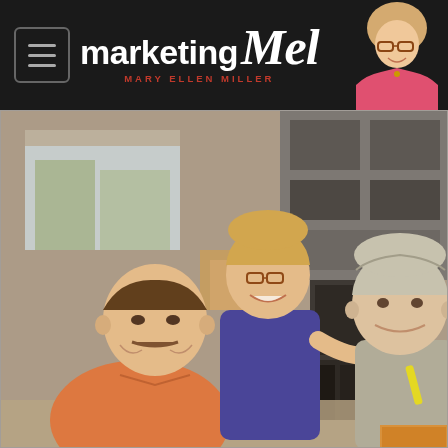[Figure (screenshot): Marketing Mel website header with logo showing 'marketing Mel' text in white on dark background, hamburger menu icon on left, Mary Ellen Miller subtitle in red, and profile photo of woman in pink jacket on right]
[Figure (photo): Three people posing in an office setting. A man in an orange shirt seated on the left, a woman in a blue sleeveless top leaning in from behind center, and an older man in a gray striped shirt on the right. Office equipment and shelving visible in background.]